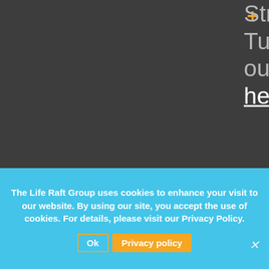Stromal Tumor). View our 990 Form here
The information provided on the LRG site is designed to support, not to replace the
The Life Raft Group uses cookies to enhance your visit to our website. By using our site, you accept the use of cookies. For details, please visit our Privacy Policy.